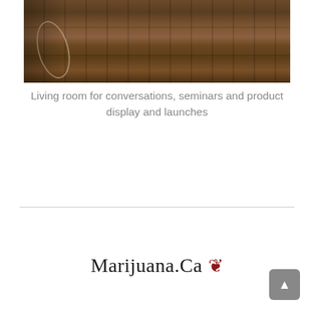[Figure (photo): Interior photo of a living room with dark wood flooring, featuring a round metal chair/stool with circular frame visible on the left side, and a dark piece of furniture on the right. The room has warm brown tones.]
Living room for conversations, seminars and product display and launches
[Figure (logo): Marijuana.Ca logo with a red maple leaf symbol to the right of the text]